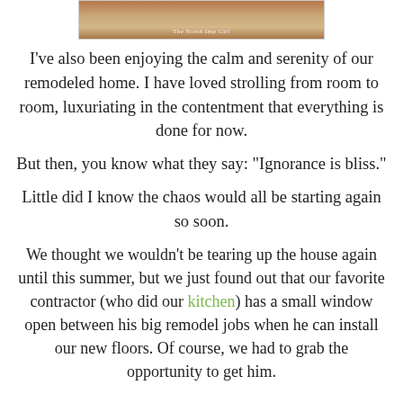[Figure (photo): Partial photo of a decorated interior scene with watermark text 'The North Imp Girl']
I've also been enjoying the calm and serenity of our remodeled home. I have loved strolling from room to room, luxuriating in the contentment that everything is done for now.
But then, you know what they say: "Ignorance is bliss."
Little did I know the chaos would all be starting again so soon.
We thought we wouldn't be tearing up the house again until this summer, but we just found out that our favorite contractor (who did our kitchen) has a small window open between his big remodel jobs when he can install our new floors. Of course, we had to grab the opportunity to get him.